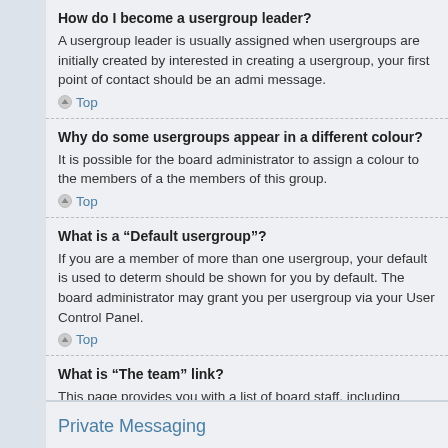How do I become a usergroup leader?
A usergroup leader is usually assigned when usergroups are initially created by interested in creating a usergroup, your first point of contact should be an admi message.
Top
Why do some usergroups appear in a different colour?
It is possible for the board administrator to assign a colour to the members of a the members of this group.
Top
What is a “Default usergroup”?
If you are a member of more than one usergroup, your default is used to deter should be shown for you by default. The board administrator may grant you per usergroup via your User Control Panel.
Top
What is “The team” link?
This page provides you with a list of board staff, including board administrators as the forums they moderate.
Top
Private Messaging